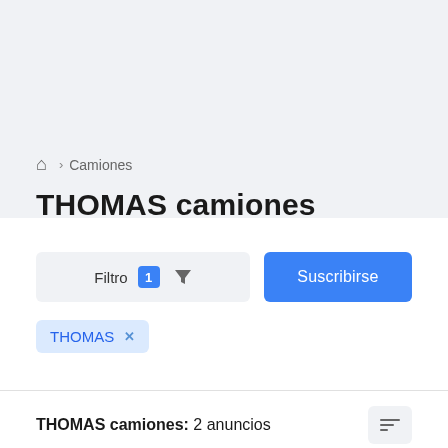🏠 > Camiones
THOMAS camiones
Filtro 1 [filter icon]
Suscribirse
THOMAS ×
THOMAS camiones: 2 anuncios